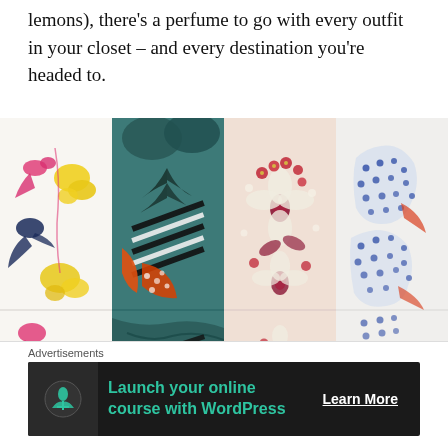lemons), there's a perfume to go with every outfit in your closet – and every destination you're headed to.
[Figure (photo): Four decorative perfume tubes/cylinders displayed side by side. From left to right: (1) white tube with pink birds and yellow floral pattern, (2) teal/green tube with bold abstract geometric and orange patterns, (3) pink/cream tube with intricate botanical floral illustration, (4) light grey tube with blue and orange illustrated cats/foxes motif.]
Advertisements
[Figure (infographic): Advertisement banner: dark background with a tree/person icon on left, teal text reading 'Launch your online course with WordPress', and a white underlined 'Learn More' button on the right.]